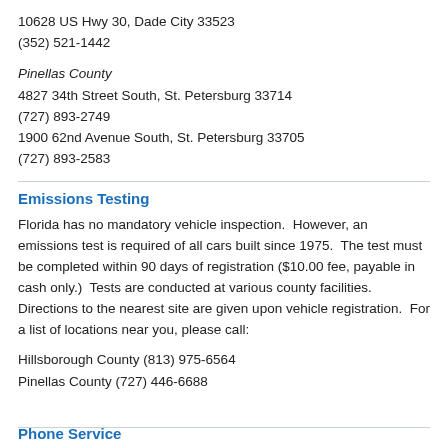10628 US Hwy 30, Dade City 33523
(352) 521-1442
Pinellas County
4827 34th Street South, St. Petersburg 33714
(727) 893-2749
1900 62nd Avenue South, St. Petersburg 33705
(727) 893-2583
Emissions Testing
Florida has no mandatory vehicle inspection.  However, an emissions test is required of all cars built since 1975.  The test must be completed within 90 days of registration ($10.00 fee, payable in cash only.)  Tests are conducted at various county facilities.  Directions to the nearest site are given upon vehicle registration.  For a list of locations near you, please call:
Hillsborough County (813) 975-6564
Pinellas County (727) 446-6688
Phone Service